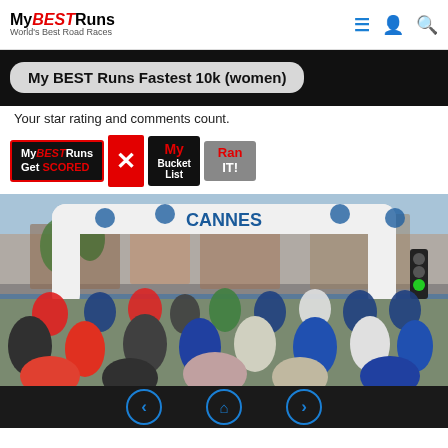My BEST Runs — World's Best Road Races
My BEST Runs Fastest 10k (women)
Your star rating and comments count.
[Figure (logo): MyBESTRuns Get SCORED badge, X separator, My Bucket List badge, Ran IT! badge]
[Figure (photo): Race start at Cannes with a large inflatable arch labeled CANNES, crowd of runners, waterfront city backdrop, traffic light visible]
Navigation: back, home, forward